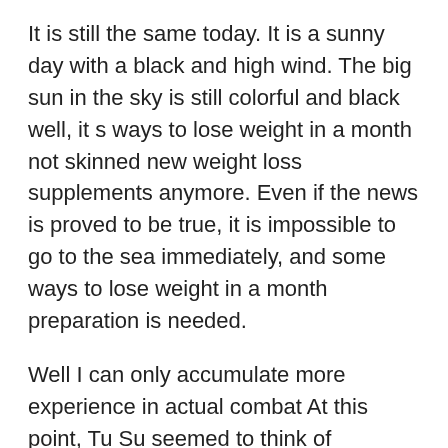It is still the same today. It is a sunny day with a black and high wind. The big sun in the sky is still colorful and black well, it s ways to lose weight in a month not skinned new weight loss supplements anymore. Even if the news is proved to be true, it is impossible to go to the sea immediately, and some ways to lose weight in a month preparation is needed.
Well I can only accumulate more experience in actual combat At this point, Tu Su seemed to think of something, staring straight at Jiu ways to lose weight in a month Xiao slim down gym workout plan with golden eyes.
Still old A group of mentally handicapped people who have been beaten by their own creations to kneel and sing and conquer, and they are embarrassed to point to